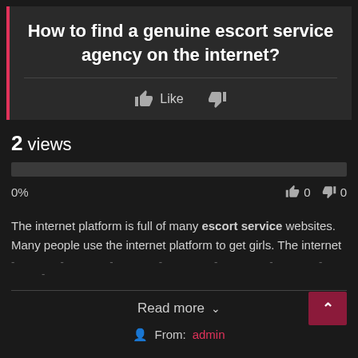How to find a genuine escort service agency on the internet?
Like (thumbs up) | (thumbs down)
2 views
0%   👍 0  👎 0
The internet platform is full of many escort service websites. Many people use the internet platform to get girls. The internet
Read more ∨
From: admin